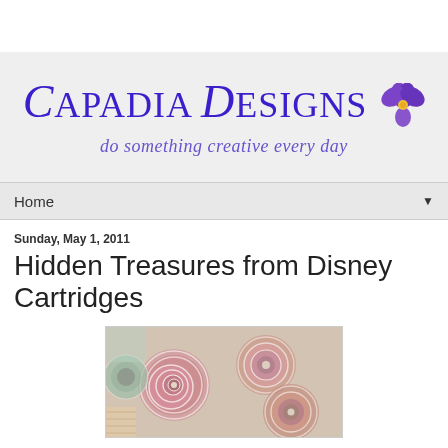[Figure (logo): Capadia Designs blog logo with purple text and pansy flower icon, subtitle reads 'do something creative every day']
Home ▼
Sunday, May 1, 2011
Hidden Treasures from Disney Cartridges
[Figure (photo): Close-up photo of paper roses/flowers made from rolled paper strips in pink, green, and patterned paper, with pearl centers]